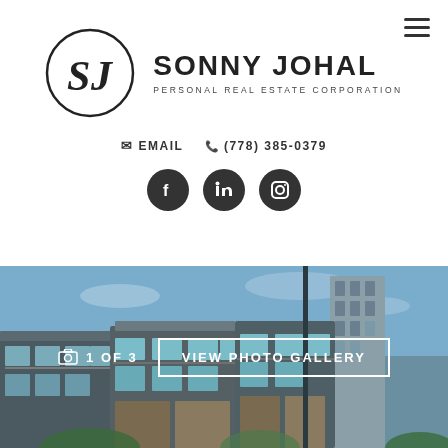[Figure (logo): Sonny Johal Personal Real Estate Corporation logo with SJ monogram in circle and brand name text]
✉ EMAIL  ☎ (778) 385-0379
[Figure (infographic): Social media buttons: Facebook, LinkedIn, Instagram]
[Figure (photo): Photo gallery section showing modern townhouse/condo buildings with blue sky. Shows '1 OF 3' counter and 'VIEW PHOTO GALLERY' button]